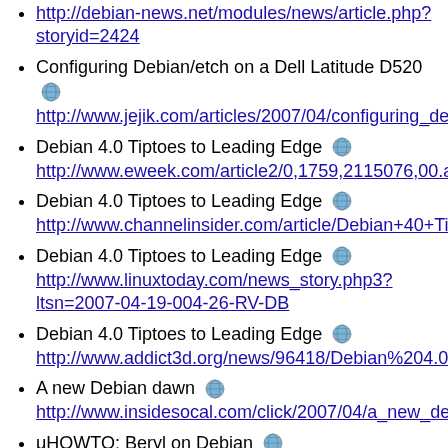http://debian-news.net/modules/news/article.php?storyid=2424
Configuring Debian/etch on a Dell Latitude D520
http://www.jejik.com/articles/2007/04/configuring_deb
Debian 4.0 Tiptoes to Leading Edge
http://www.eweek.com/article2/0,1759,2115076,00.a
Debian 4.0 Tiptoes to Leading Edge
http://www.channelinsider.com/article/Debian+40+Tip
Debian 4.0 Tiptoes to Leading Edge
http://www.linuxtoday.com/news_story.php3?ltsn=2007-04-19-004-26-RV-DB
Debian 4.0 Tiptoes to Leading Edge
http://www.addict3d.org/news/96418/Debian%204.0%
A new Debian dawn
http://www.insidesocal.com/click/2007/04/a_new_deb
μHOWTO: Beryl on Debian
http://javier.rodriguez.org.mx/index.php/2007/04/21/